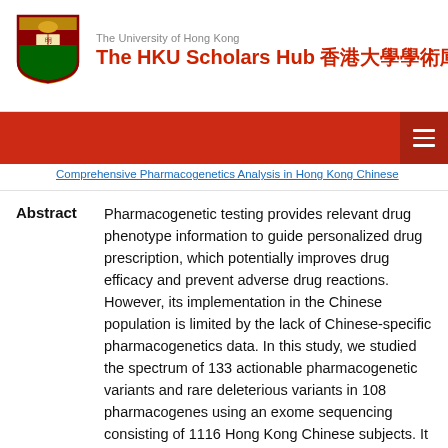The University of Hong Kong
The HKU Scholars Hub 香港大學學術庫
Pharmacogenetic testing provides relevant drug phenotype information to guide personalized drug prescription, which potentially improves drug efficacy and prevent adverse drug reactions. However, its implementation in the Chinese population is limited by the lack of Chinese-specific pharmacogenetics data. In this study, we studied the spectrum of 133 actionable pharmacogenetic variants and rare deleterious variants in 108 pharmacogenes using an exome sequencing consisting of 1116 Hong Kong Chinese subjects. It was found that nearly all individuals carried at least one actionable pharmacogenetic variant and one rare, predicted deleterious pharmacogenetic variant. In addition, we projected the potential prescription impact of actionable pharmacogenetic